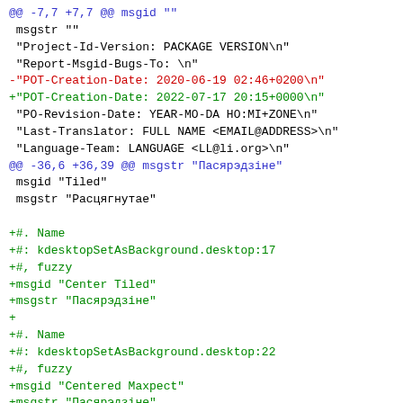diff code block showing git-style patch with blue context lines, red deletion, green additions for a .po translation file